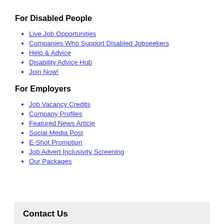For Disabled People
Live Job Opportunities
Companies Who Support Disabled Jobseekers
Help & Advice
Disability Advice Hub
Join Now!
For Employers
Job Vacancy Credits
Company Profiles
Featured News Article
Social Media Post
E-Shot Promotion
Job Advert Inclusivity Screening
Our Packages
Contact Us